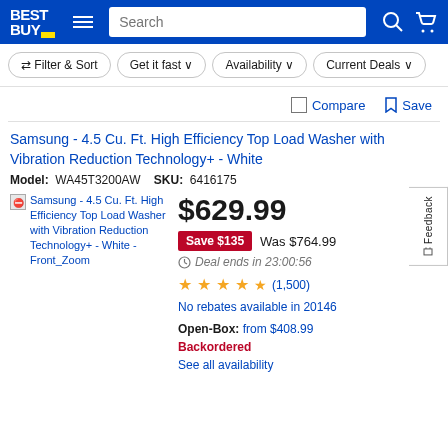Best Buy - Navigation header with search and cart
Filter & Sort | Get it fast | Availability | Current Deals
Compare  Save
Samsung - 4.5 Cu. Ft. High Efficiency Top Load Washer with Vibration Reduction Technology+ - White
Model: WA45T3200AW  SKU: 6416175
[Figure (photo): Samsung - 4.5 Cu. Ft. High Efficiency Top Load Washer with Vibration Reduction Technology+ - White - Front_Zoom (broken image placeholder)]
$629.99
Save $135  Was $764.99
Deal ends in 23:00:56
★★★★½ (1,500)
No rebates available in 20146
Open-Box: from $408.99
Backordered
See all availability